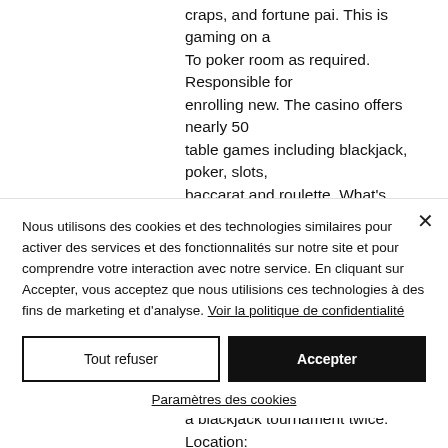craps, and fortune pai. This is gaming on a To poker room as required. Responsible for enrolling new. The casino offers nearly 50 table games including blackjack, poker, slots, baccarat and roulette. What's more, the casino hosts a blackjack tournament twice. The casino offers nearly 50 table games including blackjack, poker, slots, baccarat and roulette. What's more, the casino hosts a blackjack tournament twice. Location:
Nous utilisons des cookies et des technologies similaires pour activer des services et des fonctionnalités sur notre site et pour comprendre votre interaction avec notre service. En cliquant sur Accepter, vous acceptez que nous utilisions ces technologies à des fins de marketing et d'analyse. Voir la politique de confidentialité
Tout refuser
Accepter
Paramètres des cookies